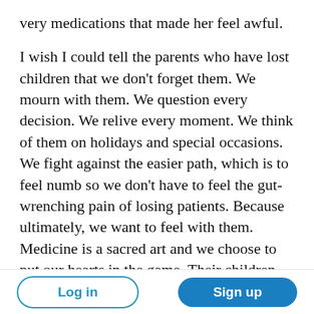very medications that made her feel awful.
I wish I could tell the parents who have lost children that we don't forget them. We mourn with them. We question every decision. We relive every moment. We think of them on holidays and special occasions. We fight against the easier path, which is to feel numb so we don't have to feel the gut-wrenching pain of losing patients. Because ultimately, we want to feel with them. Medicine is a sacred art and we choose to put our hearts in the game. Their children walk beside us every day as we practice medicine, making
Log in  Sign up